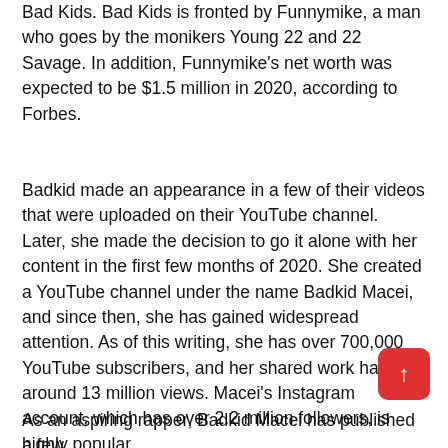Bad Kids. Bad Kids is fronted by Funnymike, a man who goes by the monikers Young 22 and 22 Savage. In addition, Funnymike's net worth was expected to be $1.5 million in 2020, according to Forbes.
Badkid made an appearance in a few of their videos that were uploaded on their YouTube channel. Later, she made the decision to go it alone with her content in the first few months of 2020. She created a YouTube channel under the name Badkid Macei, and since then, she has gained widespread attention. As of this writing, she has over 700,000 YouTube subscribers, and her shared work has had around 13 million views. Macei's Instagram account, which has over 2.2 million followers, is highly popular.
As an aspiring rapper, Badkid Macei has published a few